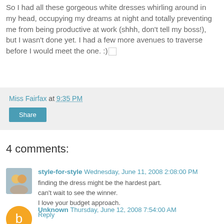So I had all these gorgeous white dresses whirling around in my head, occupying my dreams at night and totally preventing me from being productive at work (shhh, don't tell my boss!), but I wasn't done yet. I had a few more avenues to traverse before I would meet the one. :)
Miss Fairfax at 9:35 PM
Share
4 comments:
style-for-style Wednesday, June 11, 2008 2:08:00 PM
finding the dress might be the hardest part.
can't wait to see the winner.
I love your budget approach.
Reply
Unknown Thursday, June 12, 2008 7:54:00 AM